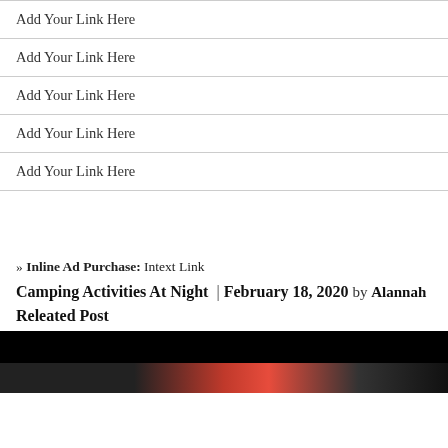Add Your Link Here
Add Your Link Here
Add Your Link Here
Add Your Link Here
Add Your Link Here
» Inline Ad Purchase:  Intext Link
Camping Activities At Night | February 18, 2020 by Alannah
Releated Post
[Figure (photo): Dark background photo with red and dark tones, partially visible at the bottom of the page]